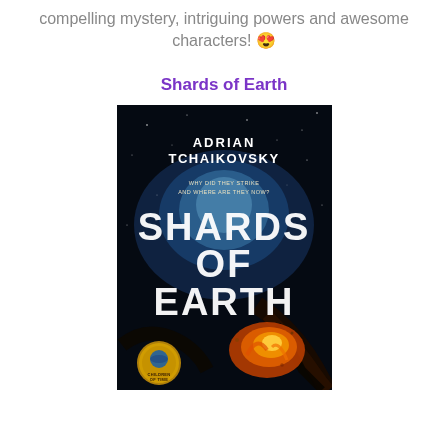compelling mystery, intriguing powers and awesome characters! 😍
Shards of Earth
[Figure (photo): Book cover of 'Shards of Earth' by Adrian Tchaikovsky. Dark space background with cosmic dust and an alien creature. Text reads: 'ADRIAN TCHAIKOVSKY', 'WHY DID THEY STRIKE AND WHERE ARE THEY NOW?', 'SHARDS OF EARTH'. Gold medallion at bottom left reads 'CHILDREN OF TIME'.]